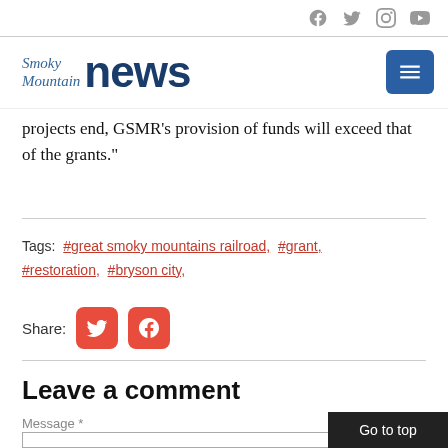Smoky Mountain news [header with social icons: Facebook, Twitter, Instagram, YouTube]
projects end, GSMR's provision of funds will exceed that of the grants."
Tags:  #great smoky mountains railroad,  #grant,  #restoration,  #bryson city,
Share: [Twitter icon] [Facebook icon]
Leave a comment
Message *